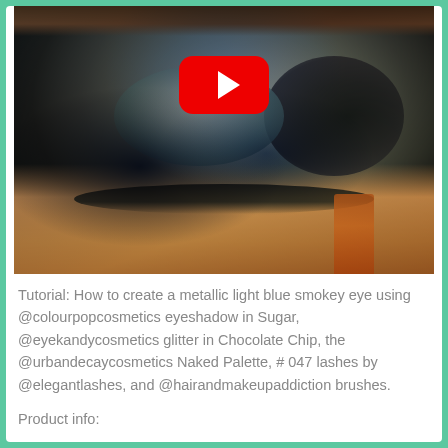[Figure (photo): Close-up photo of an eye with metallic light blue smokey eye makeup. A red YouTube play button overlay is visible in the upper center of the image. The eye features silver/blue shimmer on the lid, dark smokey outer corners, dark liner on lower lashes, and a makeup brush visible in the lower right corner.]
Tutorial: How to create a metallic light blue smokey eye using @colourpopcosmetics eyeshadow in Sugar, @eyekandycosmetics glitter in Chocolate Chip, the @urbandecaycosmetics Naked Palette, # 047 lashes by @elegantlashes, and @hairandmakeupaddiction brushes.
Product info: